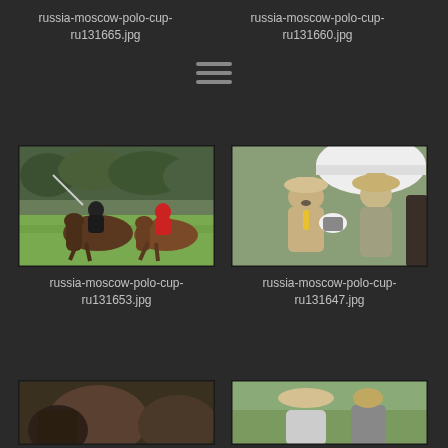russia-moscow-polo-cup-ru131665.jpg
russia-moscow-polo-cup-ru131660.jpg
[Figure (photo): Two polo players on horseback during a match, one in black and one in red uniform, with trees in background]
[Figure (photo): A man in a beige suit and hat holding up a camera, with a woman in a hat beside him, outdoors at a polo event]
russia-moscow-polo-cup-ru131653.jpg
russia-moscow-polo-cup-ru131647.jpg
[Figure (photo): Partial view of polo players and horses, dark tones, bottom of page]
[Figure (photo): Partial view of a man with a hat at a polo event, outdoor setting]